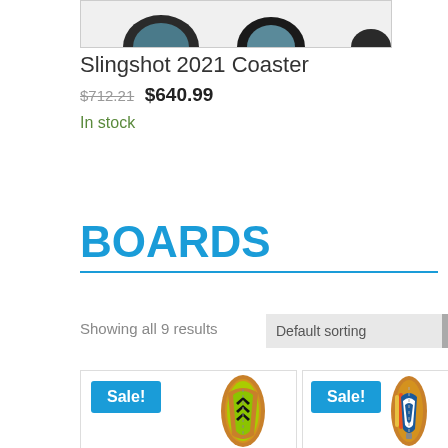[Figure (photo): Top portion of a product image strip showing surfboards/kiteboards, partially cropped]
Slingshot 2021 Coaster
$712.21  $640.99
In stock
BOARDS
Showing all 9 results
Default sorting
[Figure (photo): Product card showing a wakeboard/surfboard from top view with Sale! badge, green and black design on wooden board]
[Figure (photo): Product card showing a wakeboard/surfboard from top view with Sale! badge, blue and white design on wooden board]